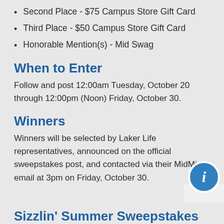Second Place - $75 Campus Store Gift Card
Third Place - $50 Campus Store Gift Card
Honorable Mention(s) - Mid Swag
When to Enter
Follow and post 12:00am Tuesday, October 20 through 12:00pm (Noon) Friday, October 30.
Winners
Winners will be selected by Laker Life representatives, announced on the official sweepstakes post, and contacted via their MidMich email at 3pm on Friday, October 30.
Sizzlin' Summer Sweepstakes